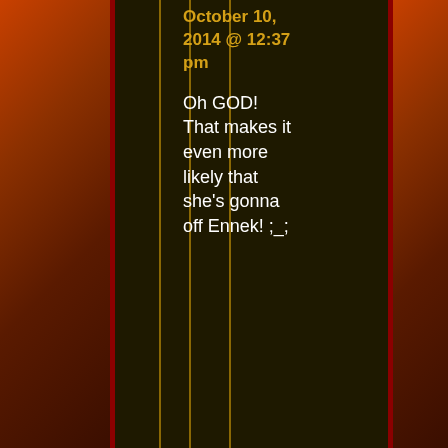October 10, 2014 @ 12:37 pm
Oh GOD! That makes it even more likely that she's gonna off Ennek! ;_;
Tech  October 11, 2014 @ 1:11 am  ↩ Reply
I told you guys to say goodbye to her when we got her backstory, but